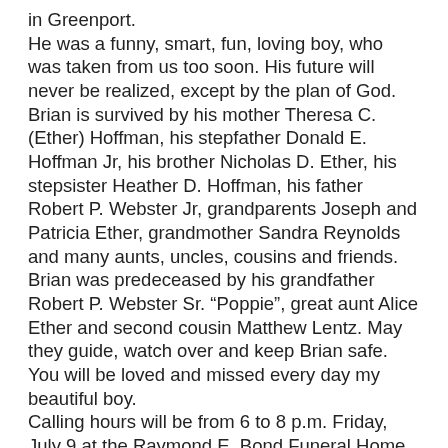in Greenport. He was a funny, smart, fun, loving boy, who was taken from us too soon. His future will never be realized, except by the plan of God. Brian is survived by his mother Theresa C. (Ether) Hoffman, his stepfather Donald E. Hoffman Jr, his brother Nicholas D. Ether, his stepsister Heather D. Hoffman, his father Robert P. Webster Jr, grandparents Joseph and Patricia Ether, grandmother Sandra Reynolds and many aunts, uncles, cousins and friends. Brian was predeceased by his grandfather Robert P. Webster Sr. “Poppie”, great aunt Alice Ether and second cousin Matthew Lentz. May they guide, watch over and keep Brian safe. You will be loved and missed every day my beautiful boy. Calling hours will be from 6 to 8 p.m. Friday, July 9 at the Raymond E. Bond Funeral Home, Route 9, Valatie. Funeral services will be held Saturday, July 10, 11 a.m. at funeral home, with a service conducted by the Reverend Dr. Nancy McClure-Long. Interment will be in St. Mary’s Cemetery, Stuyvesant Falls. Family and friends are welcomed to our home after the cemetery service to remember and celebrate Brian’s life